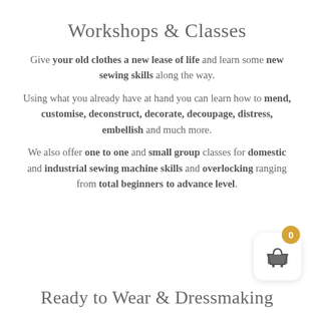Workshops & Classes
Give your old clothes a new lease of life and learn some new sewing skills along the way.
Using what you already have at hand you can learn how to mend, customise, deconstruct, decorate, decoupage, distress, embellish and much more.
We also offer one to one and small group classes for domestic and industrial sewing machine skills and overlocking ranging from total beginners to advance level.
[Figure (infographic): Shopping basket widget with badge showing 0]
Ready to Wear & Dressmaking